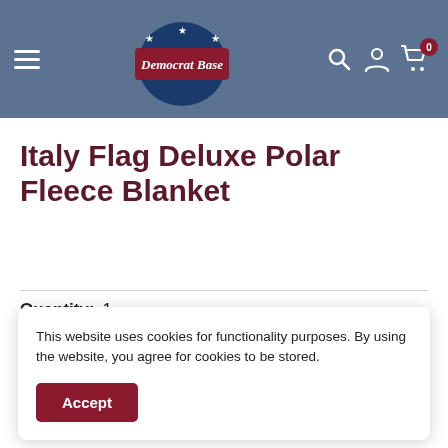[Figure (screenshot): Democrat Base website header with hamburger menu, logo, search, account, and cart icons on a steel-blue background]
Italy Flag Deluxe Polar Fleece Blanket
Quantity: 1
This website uses cookies for functionality purposes. By using the website, you agree for cookies to be stored.
Accept